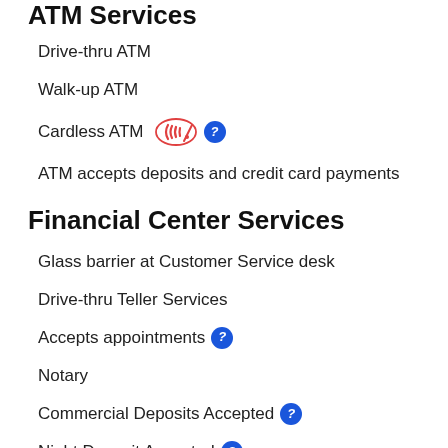ATM Services
Drive-thru ATM
Walk-up ATM
Cardless ATM
ATM accepts deposits and credit card payments
Financial Center Services
Glass barrier at Customer Service desk
Drive-thru Teller Services
Accepts appointments
Notary
Commercial Deposits Accepted
Night Deposit Accepted
Change Orders
Cash Non Customer Checks